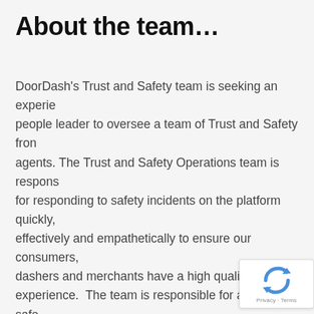About the team…
DoorDash's Trust and Safety team is seeking an experienced people leader to oversee a team of Trust and Safety frontline agents. The Trust and Safety Operations team is responsible for responding to safety incidents on the platform quickly, effectively and empathetically to ensure our consumers, dashers and merchants have a high quality and safe experience.  The team is responsible for a variety of safety concerns for our community, including but not limited to: personal safety,  threats, property damage, food safety, discrimination and personality disputes.  Trust and Safety success relies on our team being able to identify harmful situations, communicate empathetically with survivors and make quick decisions to mitigate future risk.  The goal is to provide the best support possible for those who have experienced an incident on the DoorDash platform and restore their status quo.